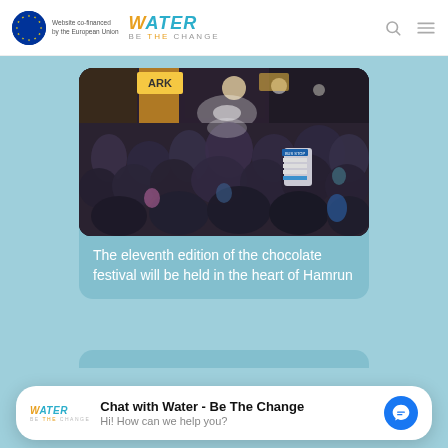Website co-financed by the European Union | WATER BE THE CHANGE
[Figure (photo): Aerial view of a large crowd of people at a night street festival in Hamrun, with bright lights and shop fronts visible]
The eleventh edition of the chocolate festival will be held in the heart of Hamrun
Chat with Water - Be The Change
Hi! How can we help you?